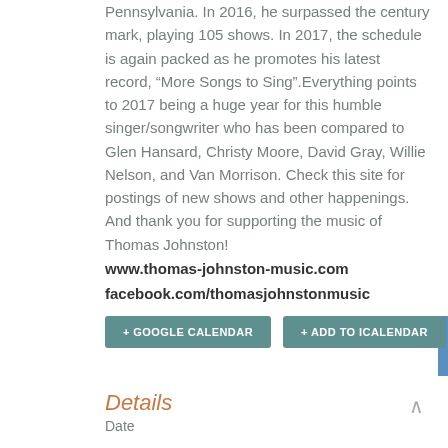Pennsylvania.  In 2016, he surpassed the century mark, playing 105 shows.  In 2017, the schedule is again packed as he promotes his latest record, “More Songs to Sing”.Everything points to 2017 being a huge year for this humble singer/songwriter who has been compared to Glen Hansard, Christy Moore, David Gray, Willie Nelson, and Van Morrison.  Check this site for postings of new shows and other happenings.  And thank you for supporting the music of Thomas Johnston!
www.thomas-johnston-music.com
facebook.com/thomasjohnstonmusic
+ GOOGLE CALENDAR
+ ADD TO ICALENDAR
Details
Date